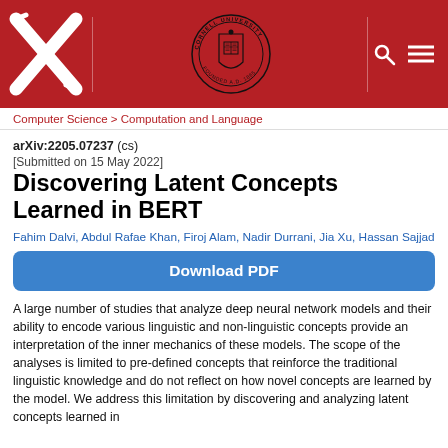[Figure (logo): arXiv and Cornell University header with red background, arXiv X logo on left, Cornell University seal in center, search and menu icons on right]
Computer Science > Computation and Language
arXiv:2205.07237 (cs)
[Submitted on 15 May 2022]
Discovering Latent Concepts Learned in BERT
Fahim Dalvi, Abdul Rafae Khan, Firoj Alam, Nadir Durrani, Jia Xu, Hassan Sajjad
Download PDF
A large number of studies that analyze deep neural network models and their ability to encode various linguistic and non-linguistic concepts provide an interpretation of the inner mechanics of these models. The scope of the analyses is limited to pre-defined concepts that reinforce the traditional linguistic knowledge and do not reflect on how novel concepts are learned by the model. We address this limitation by discovering and analyzing latent concepts learned in